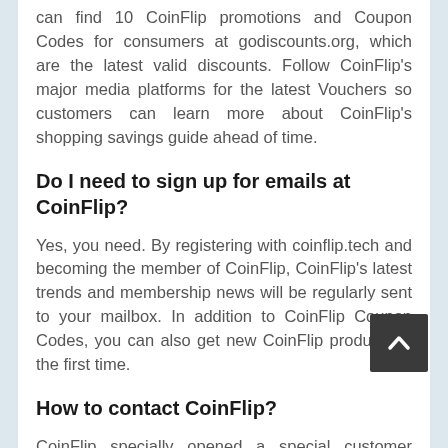can find 10 CoinFlip promotions and Coupon Codes for consumers at godiscounts.org, which are the latest valid discounts. Follow CoinFlip's major media platforms for the latest Vouchers so customers can learn more about CoinFlip's shopping savings guide ahead of time.
Do I need to sign up for emails at CoinFlip?
Yes, you need. By registering with coinflip.tech and becoming the member of CoinFlip, CoinFlip's latest trends and membership news will be regularly sent to your mailbox. In addition to CoinFlip Coupon Codes, you can also get new CoinFlip products in the first time.
How to contact CoinFlip?
CoinFlip specially opened a special customer service channel for customers to solve the desired problem in this way. You can find the button by browsing any page of coinflip.tech and get in touch with customer service. CoinFlip